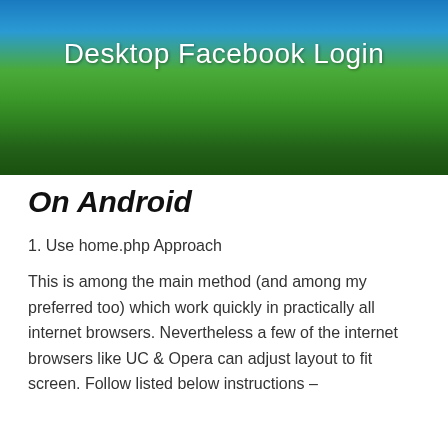[Figure (photo): Banner image showing a green grassy landscape under a blue sky with text 'Desktop Facebook Login' overlaid in white.]
On Android
1. Use home.php Approach
This is among the main method (and among my preferred too) which work quickly in practically all internet browsers. Nevertheless a few of the internet browsers like UC & Opera can adjust layout to fit screen. Follow listed below instructions –